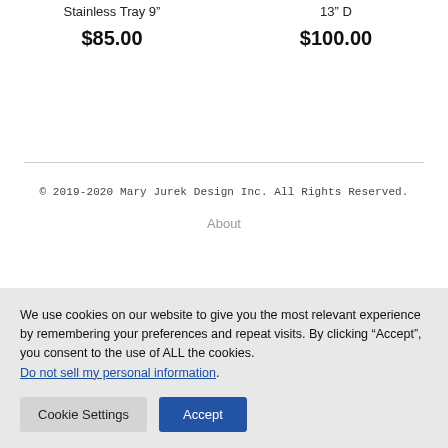Stainless Tray 9"
$85.00
13" D
$100.00
© 2019-2020 Mary Jurek Design Inc. All Rights Reserved.
About
We use cookies on our website to give you the most relevant experience by remembering your preferences and repeat visits. By clicking “Accept”, you consent to the use of ALL the cookies. Do not sell my personal information.
Cookie Settings
Accept